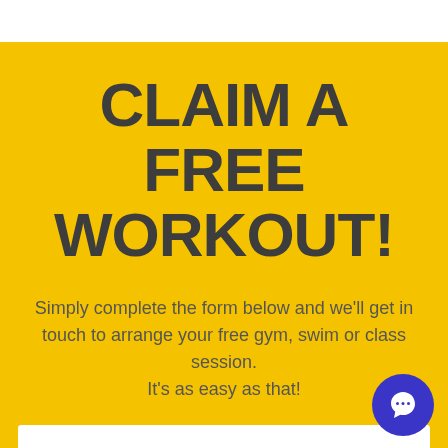CLAIM A FREE WORKOUT!
Simply complete the form below and we'll get in touch to arrange your free gym, swim or class session. It's as easy as that!
Full Name
Email
[Figure (illustration): Blue circular chat bubble icon in bottom-right corner]